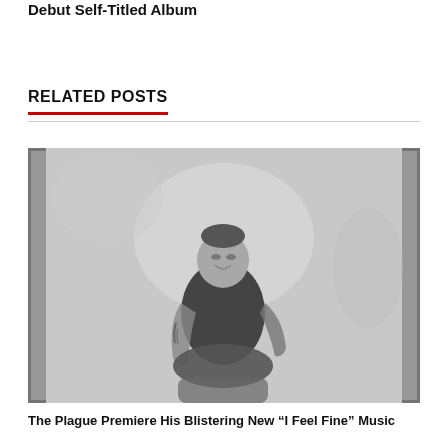Debut Self-Titled Album
RELATED POSTS
[Figure (photo): A young man with tattoos on his left arm, wearing a black sleeveless shirt, seated and smiling, photographed in black and white with a blurred background.]
The Plague Premiere His Blistering New “I Feel Fine” Music